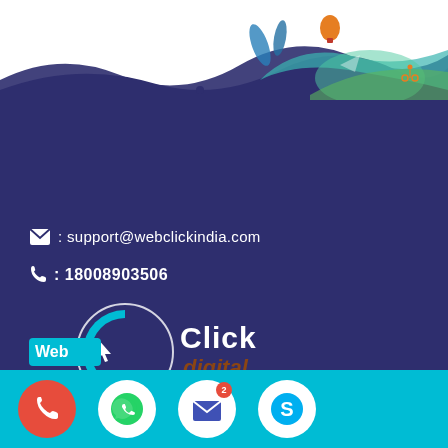[Figure (illustration): Colorful outdoor/sports themed illustration with silhouettes of cyclists, hot air balloon, and wave/landscape elements in teal, orange, green against white background forming the top banner]
✉ : support@webclickindia.com
☎ : 18008903506
[Figure (logo): WebClick Digital Pvt. Ltd. logo — circular arrow/click cursor icon with 'Web Click Digital PVT. LTD.' text in cyan/brown/white on dark navy background]
📍 : 8A/2, Plot No - 1 A, 3rd Floor, Moti Nagar, Najafgarh Rd, DLF Industrial Area, New Delhi - 110015, India
[Figure (infographic): Cyan footer bar with four circular social/contact buttons: red phone button, green WhatsApp button, white email button with red badge showing '2', white Skype button]